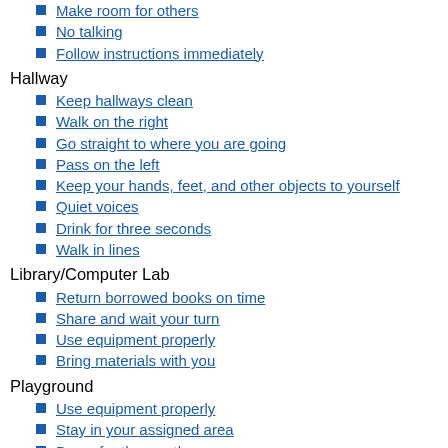Make room for others
No talking
Follow instructions immediately
Hallway
Keep hallways clean
Walk on the right
Go straight to where you are going
Pass on the left
Keep your hands, feet, and other objects to yourself
Quiet voices
Drink for three seconds
Walk in lines
Library/Computer Lab
Return borrowed books on time
Share and wait your turn
Use equipment properly
Bring materials with you
Playground
Use equipment properly
Stay in your assigned area
Dress for the weather
Play safely
Wait your turn
Include others in play
Keep your hands, feet, and other objects to yourself
Line up promptly with whistle